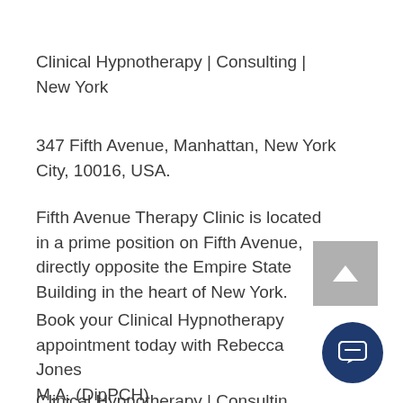Clinical Hypnotherapy | Consulting | New York
347 Fifth Avenue, Manhattan, New York City, 10016, USA.
Fifth Avenue Therapy Clinic is located in a prime position on Fifth Avenue, directly opposite the Empire State Building in the heart of New York.
Book your Clinical Hypnotherapy appointment today with Rebecca Jones M.A. (DipPCH)
Clinical Hypnotherapy | Consulting | New York